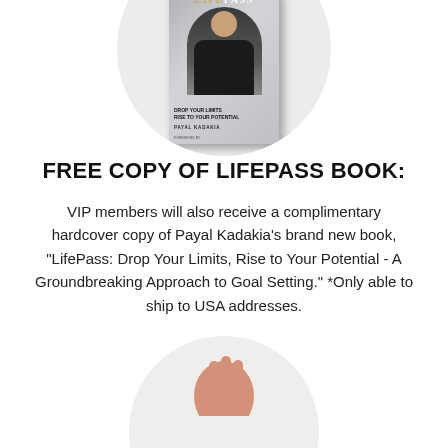[Figure (photo): A circular frame containing a book cover of 'LifePass' by Payal Kadakia, showing a woman in a black outfit. Book subtitle reads 'Drop Your Limits, Rise to Your Potential'.]
FREE COPY OF LIFEPASS BOOK:
VIP members will also receive a complimentary hardcover copy of Payal Kadakia’s brand new book, “LifePass: Drop Your Limits, Rise to Your Potential - A Groundbreaking Approach to Goal Setting.” *Only able to ship to USA addresses.
[Figure (photo): Partial circular frame at the bottom of the page showing a hand.]